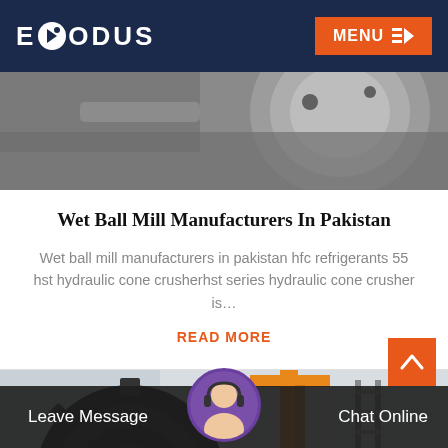EXODUS   MENU
[Figure (photo): Close-up photo of industrial machinery parts, metal flanges and mechanical components in grey tones]
Wet Ball Mill Manufacturers In Pakistan
Wet ball mill manufacturers in pakistan hfc refrigerants 55 hst hydraulic cone crusherhst series hydraulic cone crusher is…
READ MORE
[Figure (photo): Industrial machinery photo showing large gear wheel/cogwheel in foreground with orange crane and building in background]
Leave Message   Chat Online